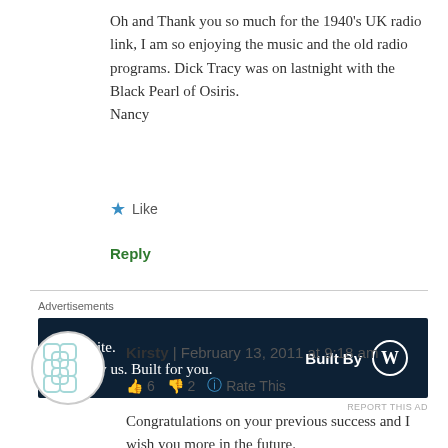Oh and Thank you so much for the 1940's UK radio link, I am so enjoying the music and the old radio programs. Dick Tracy was on lastnight with the Black Pearl of Osiris.
Nancy
Like
Reply
Advertisements
[Figure (other): WordPress advertisement banner: 'Your site. Built by us. Built for you.' with Built By WordPress logo on dark navy background]
REPORT THIS AD
Kirsty | February 13, 2011 at 9:18 am
👍 6 👎 2 ℹ Rate This
Congratulations on your previous success and I wish you more in the future.